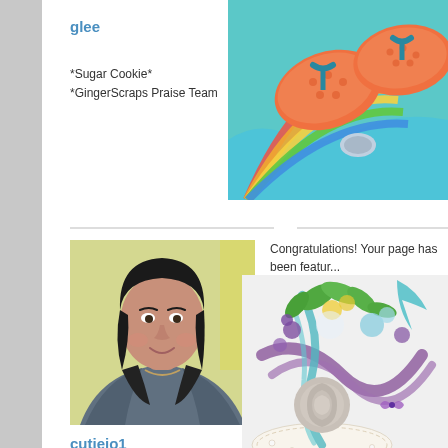glee
*Sugar Cookie*
*GingerScraps Praise Team
[Figure (illustration): Colorful summer illustration with flip flops, rainbow, and ocean wave on teal/blue background]
[Figure (photo): Portrait photo of a woman with dark hair wearing a patterned jacket, smiling at camera]
cutiejo1
Congratulations! Your page has been featur...
https://gallerystandouts.com/fingerpointing/2...
Executive Chef
*Master in the kitchen!*
[Figure (illustration): Decorative floral arrangement with purple flowers, teal ribbons, green leaves, and a grey rose on white lace]